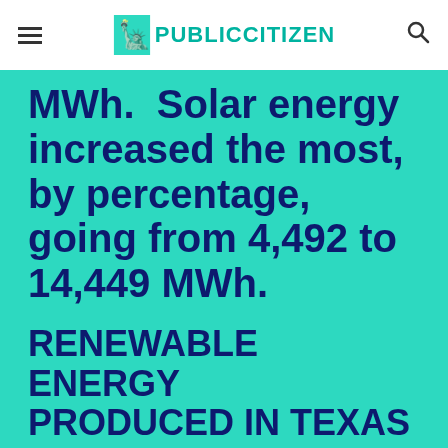PUBLIC CITIZEN
MWh.  Solar energy increased the most, by percentage, going from 4,492 to 14,449 MWh.
RENEWABLE ENERGY PRODUCED IN TEXAS
| Fuel Type | 2010 (MWhs) | 2009 (MWhs) | Inc |
| --- | --- | --- | --- |
| Biomass | 97,535 | 73,364 |  |